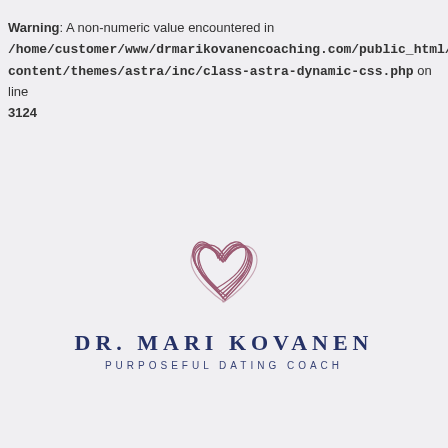Warning: A non-numeric value encountered in /home/customer/www/drmarikovanencoaching.com/public_html/content/themes/astra/inc/class-astra-dynamic-css.php on line 3124
[Figure (logo): Dr. Mari Kovanen logo: a hand-drawn scribble heart in dusty rose/mauve color above the text 'DR. MARI KOVANEN' in large serif uppercase letters and 'PURPOSEFUL DATING COACH' in smaller spaced sans-serif uppercase letters, all in dark navy blue.]